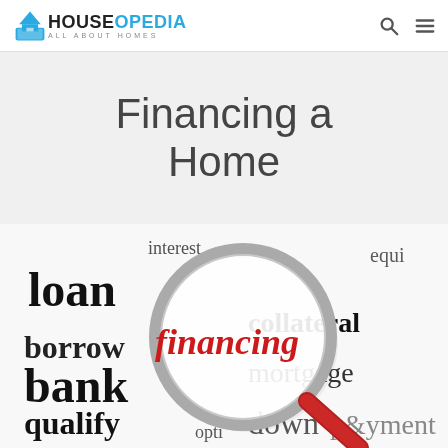HOUSEOPEDIA ALL ABOUT HOMES
Financing a Home
[Figure (illustration): Word cloud illustration with magnifying glass highlighting the word 'financing' in red. Surrounding words include: interest, loan, equity, borrow, collateral, bank, mortgage, qualify, options, down, payment.]